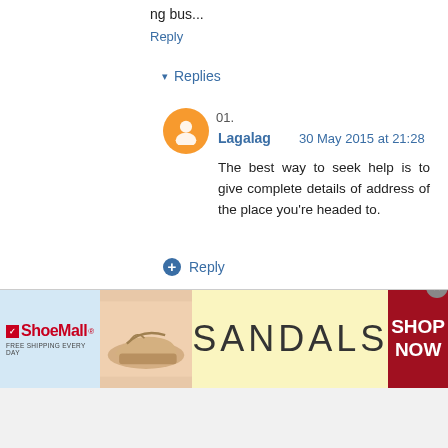ng bus...
Reply
▾ Replies
01.
Lagalag   30 May 2015 at 21:28
The best way to seek help is to give complete details of address of the place you're headed to.
⊕ Reply
43.
Unknown   17 June 2015 at 12:53
[Figure (screenshot): ShoeMall advertisement banner showing sandals with 'SHOP NOW' text on red background]